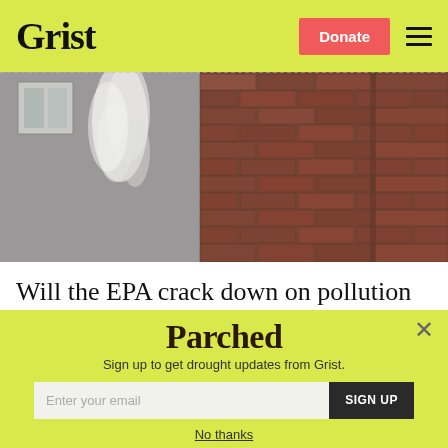Grist
[Figure (photo): Smoke or steam rising from a brick building wall, with a window visible in the upper left background]
Will the EPA crack down on pollution from buildings?
[Figure (infographic): Parched newsletter signup modal with close button, 'Parched' logo title, subtitle 'Sign up to get drought updates from Grist.', email input field, SIGN UP button, and 'No thanks' link]